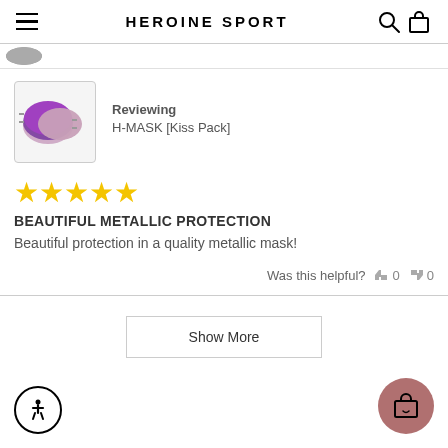HEROINE SPORT
[Figure (screenshot): Partially visible product thumbnail row above review]
[Figure (photo): Product thumbnail showing H-MASK Kiss Pack – two purple/pink metallic face masks]
Reviewing
H-MASK [Kiss Pack]
[Figure (other): 5 gold stars rating]
BEAUTIFUL METALLIC PROTECTION
Beautiful protection in a quality metallic mask!
Was this helpful?  👍 0  👎 0
Show More